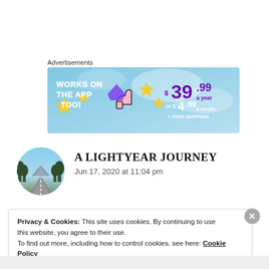Advertisements
[Figure (infographic): Advertisement banner with light blue background. Left side reads 'WORKS ON THE APP TOO!' in white bold text with yellow star decorations and a thumbs up icon. Right side shows pricing: '$39.99 a year or $4.99 a month + FREE SHIPPING' in purple/white text.]
A LIGHTYEAR JOURNEY
Jun 17, 2020 at 11:04 pm
Privacy & Cookies: This site uses cookies. By continuing to use this website, you agree to their use.
To find out more, including how to control cookies, see here: Cookie Policy
Close and accept